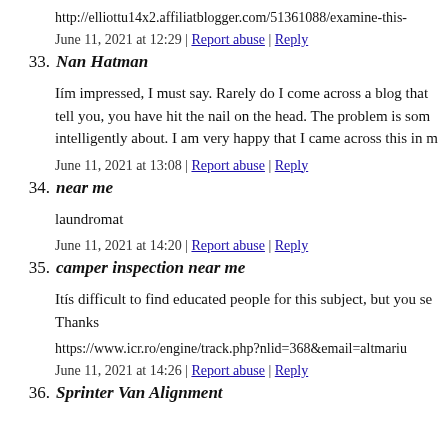http://elliottu14x2.affiliatblogger.com/51361088/examine-this-
June 11, 2021 at 12:29 | Report abuse | Reply
33. Nan Hatman
Iím impressed, I must say. Rarely do I come across a blog that tell you, you have hit the nail on the head. The problem is som intelligently about. I am very happy that I came across this in m
June 11, 2021 at 13:08 | Report abuse | Reply
34. near me
laundromat
June 11, 2021 at 14:20 | Report abuse | Reply
35. camper inspection near me
Itís difficult to find educated people for this subject, but you se Thanks
https://www.icr.ro/engine/track.php?nlid=368&email=altmariu
June 11, 2021 at 14:26 | Report abuse | Reply
36. Sprinter Van Alignment